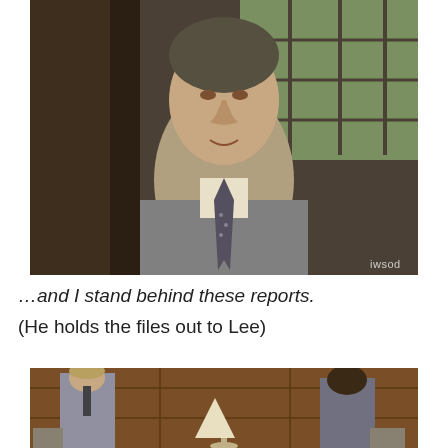[Figure (photo): Close-up screenshot of a middle-aged man in a grey suit with a patterned tie, standing in a room with a window behind him. Watermark 'iwsod' in lower right corner.]
…and I stand behind these reports.
(He holds the files out to Lee)
[Figure (photo): Screenshot of two men in suits facing each other in a wood-panelled office room with a lamp between them.]